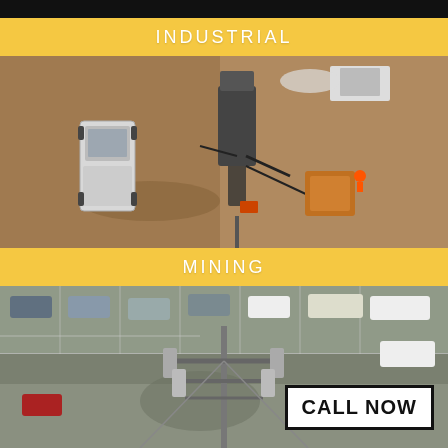[Figure (photo): Black top bar, header strip]
INDUSTRIAL
[Figure (photo): Aerial/drone view of an industrial site with a white truck and heavy drilling or pipeline equipment on dry dirt ground, shot from above]
MINING
[Figure (photo): Aerial/drone view of a parking lot with cars and a cell tower or power transmission structure in the foreground]
CALL NOW